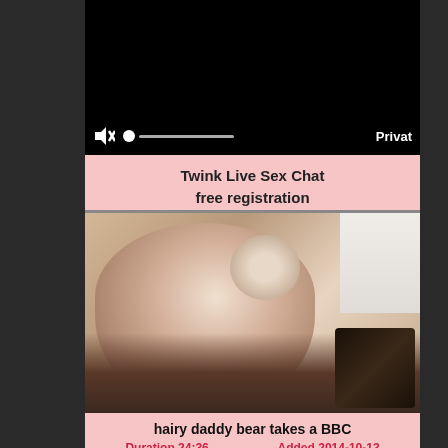[Figure (screenshot): Video player showing black screen with mute icon, scrubber, and 'Privat' label on dark control bar]
Twink Live Sex Chat
free registration
[Figure (photo): Thumbnail image for adult video titled 'hairy daddy bear takes a BBC']
hairy daddy bear takes a BBC
Duration 24:36   Added 2014-10-13